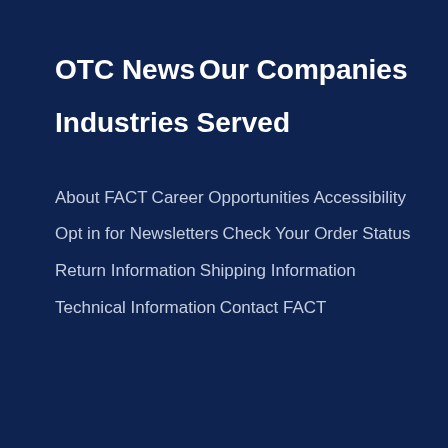OTC News
Our Companies
Industries Served
About FACT
Career Opportunities
Accessibility
Opt in for Newsletters
Check Your Order Status
Return Information
Shipping Information
Technical Information
Contact FACT